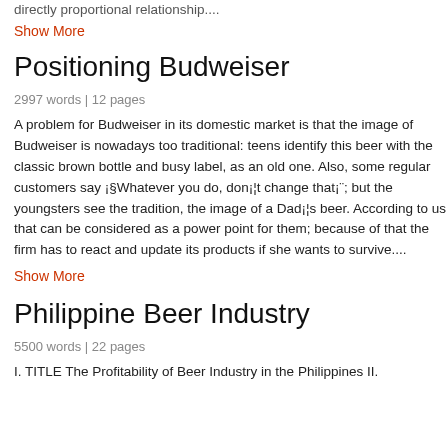directly proportional relationship....
Show More
Positioning Budweiser
2997 words | 12 pages
A problem for Budweiser in its domestic market is that the image of Budweiser is nowadays too traditional: teens identify this beer with the classic brown bottle and busy label, as an old one. Also, some regular customers say ¡§Whatever you do, don¡¦t change that¡¨; but the youngsters see the tradition, the image of a Dad¡¦s beer. According to us that can be considered as a power point for them; because of that the firm has to react and update its products if she wants to survive....
Show More
Philippine Beer Industry
5500 words | 22 pages
I. TITLE The Profitability of Beer Industry in the Philippines II.